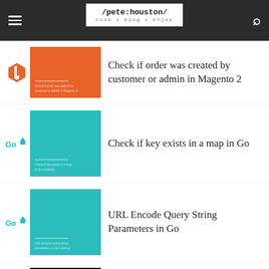/pete:houston/ code · blog · enjoy
Check if order was created by customer or admin in Magento 2
Check if key exists in a map in Go
URL Encode Query String Parameters in Go
Make HTTP Post request in Deno
Add custom Prometheus counter